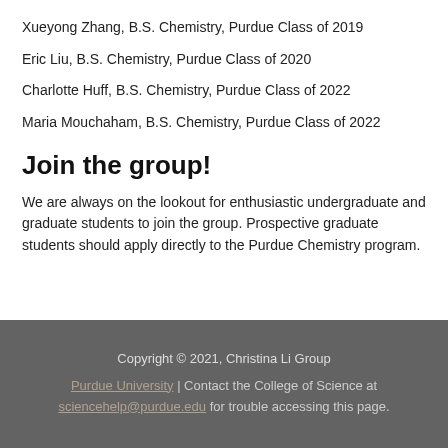Xueyong Zhang, B.S. Chemistry, Purdue Class of 2019
Eric Liu, B.S. Chemistry, Purdue Class of 2020
Charlotte Huff, B.S. Chemistry, Purdue Class of 2022
Maria Mouchaham, B.S. Chemistry, Purdue Class of 2022
Join the group!
We are always on the lookout for enthusiastic undergraduate and graduate students to join the group. Prospective graduate students should apply directly to the Purdue Chemistry program.
Copyright © 2021, Christina Li Group
Purdue University | Contact the College of Science at sciencehelp@purdue.edu for trouble accessing this page.